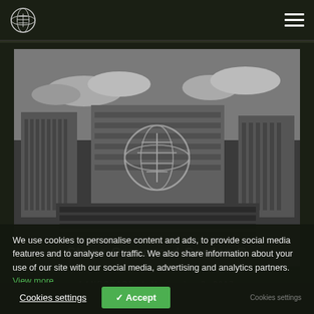Logo / Navigation header with hamburger menu
[Figure (photo): Black and white architectural render of a large modern building complex with an outdoor amphitheatre-style seating area and a prominent tree/globe logo watermark overlaid in the center]
Stripe Graveyard Garden ©
LANDSCAPE  /  Noviembre 3, 2017
We use cookies to personalise content and ads, to provide social media features and to analyse our traffic. We also share information about your use of our site with our social media, advertising and analytics partners. View more
Cookies settings     ✓ Accept     Cookies settings